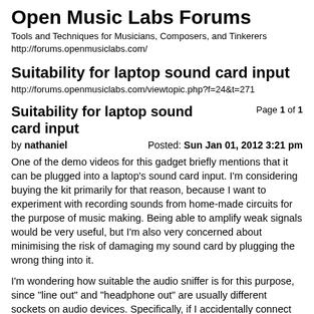Open Music Labs Forums
Tools and Techniques for Musicians, Composers, and Tinkerers
http://forums.openmusiclabs.com/
Suitability for laptop sound card input
http://forums.openmusiclabs.com/viewtopic.php?f=24&t=271
Suitability for laptop sound card input
Page 1 of 1
by nathaniel
Posted: Sun Jan 01, 2012 3:21 pm
One of the demo videos for this gadget briefly mentions that it can be plugged into a laptop's sound card input. I'm considering buying the kit primarily for that reason, because I want to experiment with recording sounds from home-made circuits for the purpose of music making. Being able to amplify weak signals would be very useful, but I'm also very concerned about minimising the risk of damaging my sound card by plugging the wrong thing into it.
I'm wondering how suitable the audio sniffer is for this purpose, since "line out" and "headphone out" are usually different sockets on audio devices. Specifically, if I accidentally connect the probes to a too high voltage source while using it in a mode she while for capturing...